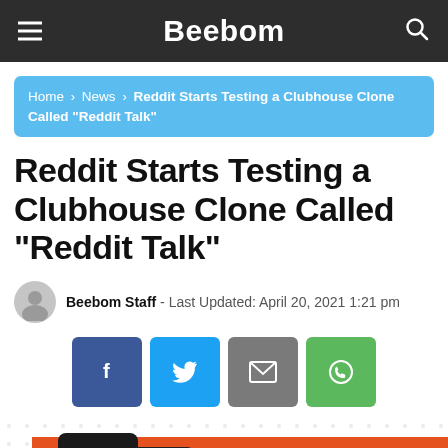Beebom
Home › News › Reddit Starts Testing a Clubhouse Clone Called “Reddit Talk”
Reddit Starts Testing a Clubhouse Clone Called “Reddit Talk”
Beebom Staff  -  Last Updated: April 20, 2021 1:21 pm
[Figure (other): Social sharing buttons: Facebook, Twitter, Email, WhatsApp]
[Figure (photo): Partial image showing two mobile phones on an orange background]